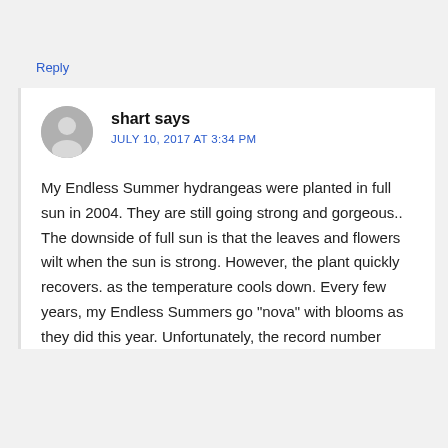Reply
shart says
JULY 10, 2017 AT 3:34 PM
My Endless Summer hydrangeas were planted in full sun in 2004. They are still going strong and gorgeous.. The downside of full sun is that the leaves and flowers wilt when the sun is strong. However, the plant quickly recovers. as the temperature cools down. Every few years, my Endless Summers go "nova" with blooms as they did this year. Unfortunately, the record number